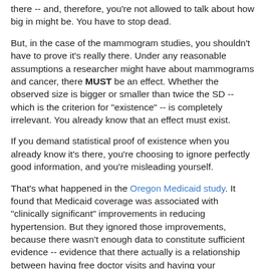there -- and, therefore, you're not allowed to talk about how big in might be. You have to stop dead.
But, in the case of the mammogram studies, you shouldn't have to prove it's really there. Under any reasonable assumptions a researcher might have about mammograms and cancer, there MUST be an effect. Whether the observed size is bigger or smaller than twice the SD -- which is the criterion for "existence" -- is completely irrelevant. You already know that an effect must exist.
If you demand statistical proof of existence when you already know it's there, you're choosing to ignore perfectly good information, and you're misleading yourself.
That's what happened in the Oregon Medicaid study. It found that Medicaid coverage was associated with "clinically significant" improvements in reducing hypertension. But they ignored those improvements, because there wasn't enough data to constitute sufficient evidence -- evidence that there actually is a relationship between having free doctor visits and having your hypertension treated.